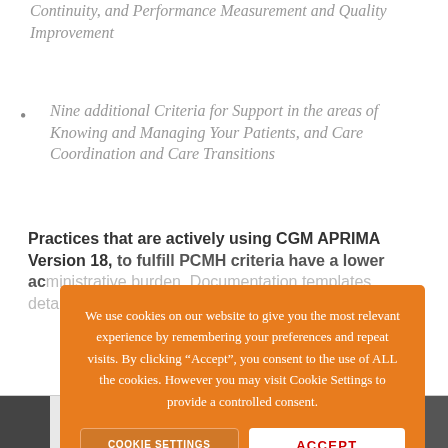Continuity, and Performance Measurement and Quality Improvement
Nine additional Criteria for Support in the areas of Knowing and Managing Your Patients, and Care Coordination and Care Transitions
Practices that are actively using CGM APRIMA Version 18, to fulfill PCMH criteria have a lower administrative burden. Documentation templates, technology, and best practices are built in.
We use cookies on our website to give you the most relevant experience by remembering your preferences and repeat visits. By clicking “Accept”, you consent to the use of ALL the cookies. However you may visit Cookie Settings to provide a controlled consent.
[Figure (screenshot): Bottom strip showing PCMH Reports tree navigation with PCMH Appointment Availability item]